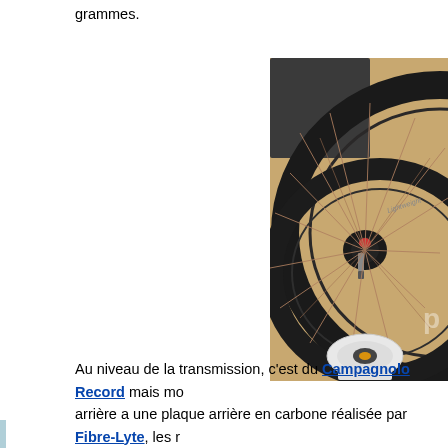grammes.
[Figure (photo): Close-up photograph of a black carbon bicycle wheel (Lightweight brand) on a scale, showing the rim, spokes, hub with red accent, and a digital weighing scale at the bottom. Wooden floor background.]
Au niveau de la transmission, c'est du Campagnolo Record mais mo… arrière a une plaque arrière en carbone réalisée par Fibre-Lyte, les r…